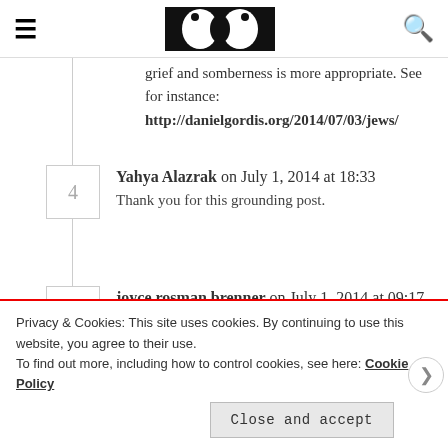Navigation bar with hamburger menu, logo image, and search icon
grief and somberness is more appropriate. See for instance:
http://danielgordis.org/2014/07/03/jews/
4 — Yahya Alazrak on July 1, 2014 at 18:33
Thank you for this grounding post.
5 — joyce rosman brenner on July 1, 2014 at 09:17
I agree with your approach of seeking wisdom during this horrific emotional time…we are scared and don't know what to do! There is too much hate
Privacy & Cookies: This site uses cookies. By continuing to use this website, you agree to their use.
To find out more, including how to control cookies, see here: Cookie Policy
Close and accept